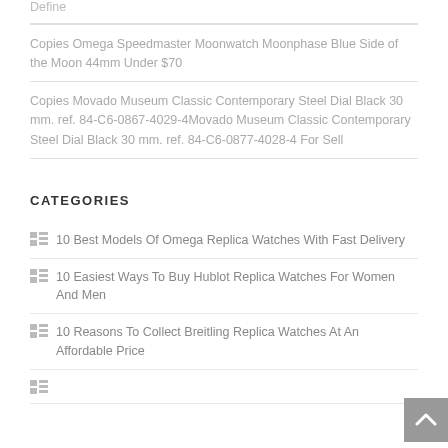Define
Copies Omega Speedmaster Moonwatch Moonphase Blue Side of the Moon 44mm Under $70
Copies Movado Museum Classic Contemporary Steel Dial Black 30 mm. ref. 84-C6-0867-4029-4Movado Museum Classic Contemporary Steel Dial Black 30 mm. ref. 84-C6-0877-4028-4 For Sell
CATEGORIES
10 Best Models Of Omega Replica Watches With Fast Delivery
10 Easiest Ways To Buy Hublot Replica Watches For Women And Men
10 Reasons To Collect Breitling Replica Watches At An Affordable Price